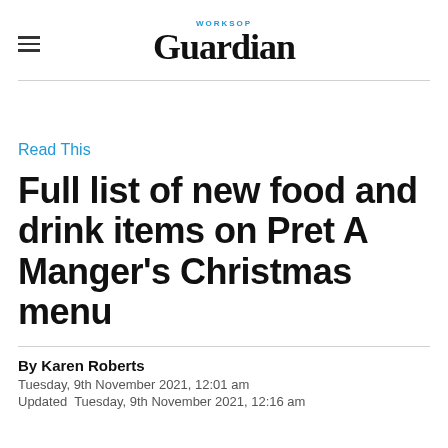WORKSOP Guardian
Read This
Full list of new food and drink items on Pret A Manger's Christmas menu
By Karen Roberts
Tuesday, 9th November 2021, 12:01 am
Updated  Tuesday, 9th November 2021, 12:16 am